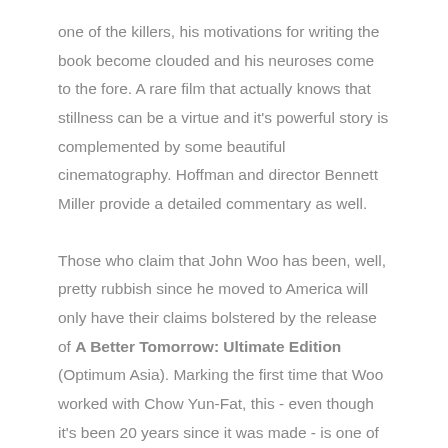one of the killers, his motivations for writing the book become clouded and his neuroses come to the fore. A rare film that actually knows that stillness can be a virtue and it's powerful story is complemented by some beautiful cinematography. Hoffman and director Bennett Miller provide a detailed commentary as well.
Those who claim that John Woo has been, well, pretty rubbish since he moved to America will only have their claims bolstered by the release of A Better Tomorrow: Ultimate Edition (Optimum Asia). Marking the first time that Woo worked with Chow Yun-Fat, this - even though it's been 20 years since it was made - is one of the most vital, exciting and thrilling action films ever made. Chow plays Mark, a killer (and I bet you thought he was going run a nursery) who runs